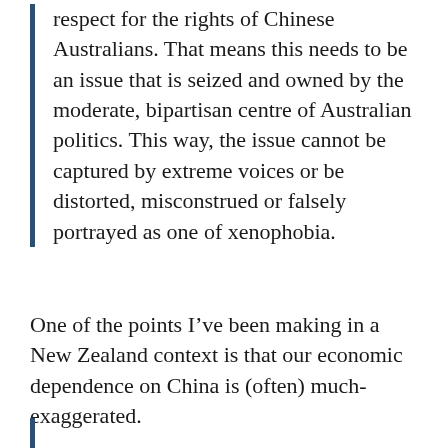respect for the rights of Chinese Australians. That means this needs to be an issue that is seized and owned by the moderate, bipartisan centre of Australian politics. This way, the issue cannot be captured by extreme voices or be distorted, misconstrued or falsely portrayed as one of xenophobia.
One of the points I’ve been making in a New Zealand context is that our economic dependence on China is (often) much-exaggerated.